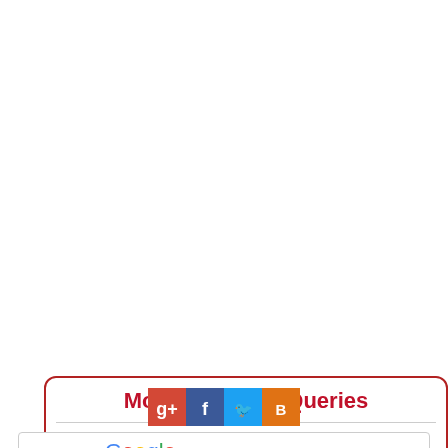Most Searched Queries
Top Engineering Colleges in Kurnool | Top Part Time MBA Colleges in India | Diploma Courses in Gujarat | Photography Courses in Hyderabad | MHT CET Admit Card | Top IB Schools in Mumbai | Top Commerce Colleges in Rajasthan | VITEEE Physics Syllabus | Top ICSE Schools in Hubli | Top Electrical Engineering Colleges in Mumbai | more...
[Figure (infographic): Social media icons: Google+, Facebook, Twitter, Blogger]
ENHANCED BY Google
Search